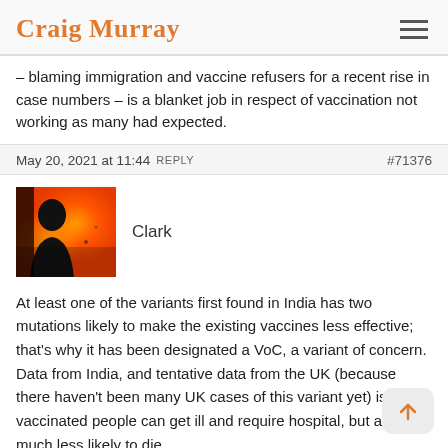Craig Murray
– blaming immigration and vaccine refusers for a recent rise in case numbers – is a blanket job in respect of vaccination not working as many had expected.
May 20, 2021 at 11:44 REPLY   #71376
Clark
At least one of the variants first found in India has two mutations likely to make the existing vaccines less effective; that's why it has been designated a VoC, a variant of concern. Data from India, and tentative data from the UK (because there haven't been many UK cases of this variant yet) is that vaccinated people can get ill and require hospital, but are much less likely to die.
It was always expected that variants might "escape the vaccines",